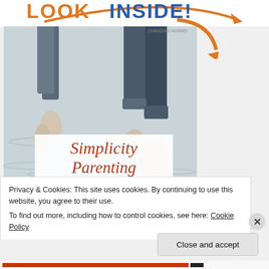[Figure (screenshot): Amazon 'Look Inside' banner with orange and blue text 'LOOK INSIDE!' and curved orange arrow pointing to book cover]
[Figure (photo): Book cover for 'Simplicity Parenting' showing two people's bare feet jumping above water, with book title text in red-brown italic serif font on white overlay]
Privacy & Cookies: This site uses cookies. By continuing to use this website, you agree to their use.
To find out more, including how to control cookies, see here: Cookie Policy
Close and accept